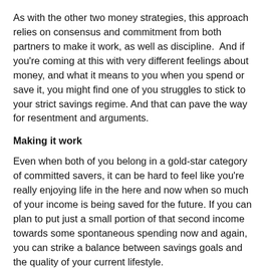As with the other two money strategies, this approach relies on consensus and commitment from both partners to make it work, as well as discipline.  And if you're coming at this with very different feelings about money, and what it means to you when you spend or save it, you might find one of you struggles to stick to your strict savings regime. And that can pave the way for resentment and arguments.
Making it work
Even when both of you belong in a gold-star category of committed savers, it can be hard to feel like you're really enjoying life in the here and now when so much of your income is being saved for the future. If you can plan to put just a small portion of that second income towards some spontaneous spending now and again, you can strike a balance between savings goals and the quality of your current lifestyle.